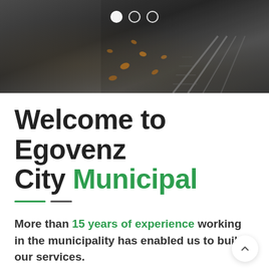[Figure (photo): Dark overhead photo of wet pavement with autumn leaves and tram/rail lines, with three dot navigation indicators at top]
Welcome to Egovenz City Municipal
More than 15 years of experience working in the municipality has enabled us to build our services.
But I must explain to you how all this mistaken idea of denouncing pleasure and praising pain was born and I will